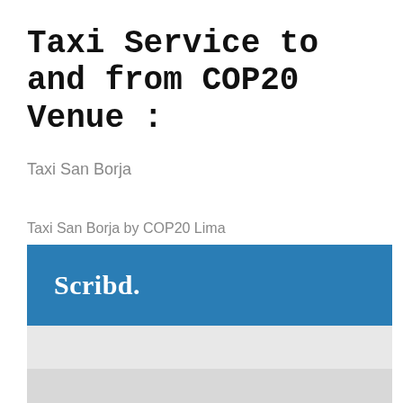Taxi Service to and from COP20 Venue :
Taxi San Borja
Taxi San Borja by COP20 Lima
[Figure (logo): Scribd logo — white bold serif text 'Scribd.' on a blue rectangular background banner]